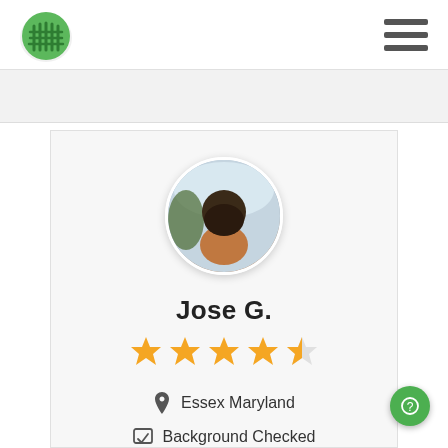Logo and navigation menu
[Figure (screenshot): User profile card showing circular photo of Jose G., 4.5 star rating, location Essex Maryland, Background Checked badge]
Jose G.
★★★★★ (4.5 stars)
Essex Maryland
Background Checked